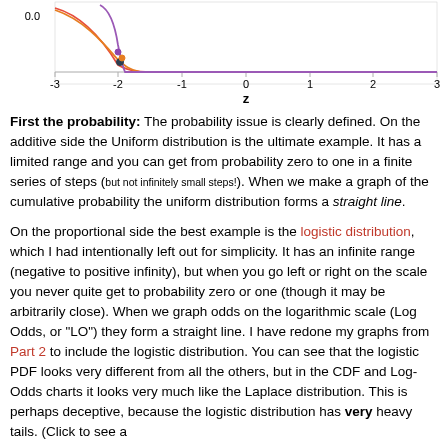[Figure (continuous-plot): Bottom portion of a probability/CDF chart showing curves near z=0.0 on the y-axis, with x-axis labeled 'z' ranging from -3 to 3. Multiple colored curves (red, orange, purple, dark blue) visible near the top.]
First the probability: The probability issue is clearly defined. On the additive side the Uniform distribution is the ultimate example. It has a limited range and you can get from probability zero to one in a finite series of steps (but not infinitely small steps!). When we make a graph of the cumulative probability the uniform distribution forms a straight line.

On the proportional side the best example is the logistic distribution, which I had intentionally left out for simplicity. It has an infinite range (negative to positive infinity), but when you go left or right on the scale you never quite get to probability zero or one (though it may be arbitrarily close). When we graph odds on the logarithmic scale (Log Odds, or "LO") they form a straight line. I have redone my graphs from Part 2 to include the logistic distribution. You can see that the logistic PDF looks very different from all the others, but in the CDF and Log-Odds charts it looks very much like the Laplace distribution. This is perhaps deceptive, because the logistic distribution has very heavy tails. (Click to see a